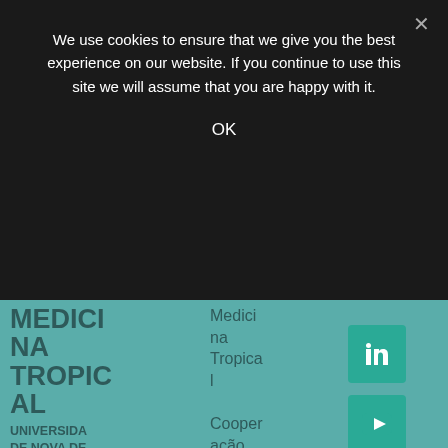We use cookies to ensure that we give you the best experience on our website. If you continue to use this site we will assume that you are happy with it.
OK
MEDICINA TROPICAL
UNIVERSIDADE NOVA DE LISBOA
Rua da Junqueira, 100 1349-008 Lisboa T +351 213652600
Medicina Tropical Cooperação
[Figure (logo): LinkedIn social media icon button (teal background, white 'in' logo)]
[Figure (logo): YouTube social media icon button (teal background, white play button logo)]